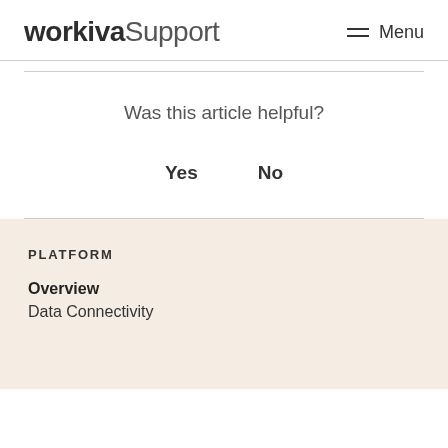workiva Support   Menu
Was this article helpful?
Yes   No
PLATFORM
Overview
Data Connectivity